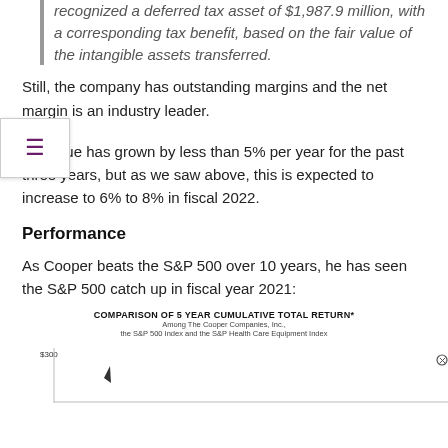recognized a deferred tax asset of $1,987.9 million, with a corresponding tax benefit, based on the fair value of the intangible assets transferred.
Still, the company has outstanding margins and the net margin is an industry leader.
Revenue has grown by less than 5% per year for the past three years, but as we saw above, this is expected to increase to 6% to 8% in fiscal 2022.
Performance
As Cooper beats the S&P 500 over 10 years, he has seen the S&P 500 catch up in fiscal year 2021:
[Figure (line-chart): Comparison of 5 year cumulative total return among The Cooper Companies, Inc., the S&P 500 Index and the S&P Health Care Equipment Index. Chart shows $300 on y-axis visible.]